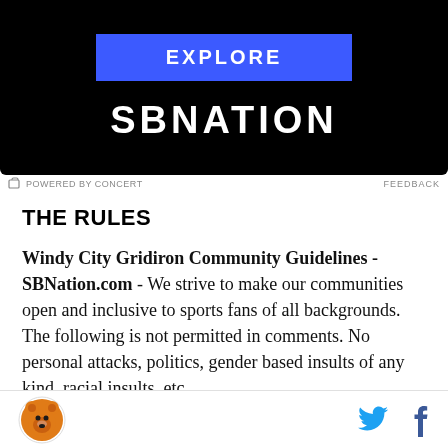[Figure (screenshot): SBNation advertisement banner with EXPLORE button on blue background and SBNATION logo in white on black background]
POWERED BY CONCERT   FEEDBACK
THE RULES
Windy City Gridiron Community Guidelines - SBNation.com - We strive to make our communities open and inclusive to sports fans of all backgrounds. The following is not permitted in comments. No personal attacks, politics, gender based insults of any kind, racial insults, etc.
Chicago Bears logo and social media icons (Twitter, Facebook)